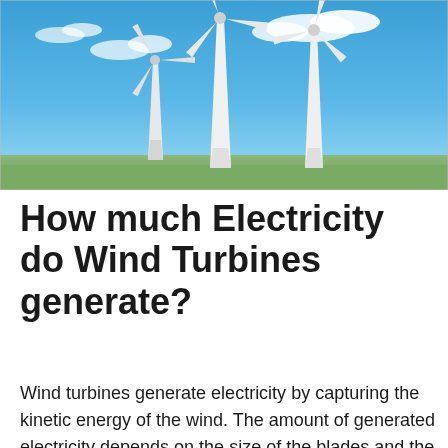[Figure (photo): Photograph of three white wind turbines against a bright blue sky with light clouds]
How much Electricity do Wind Turbines generate?
Wind turbines generate electricity by capturing the kinetic energy of the wind. The amount of generated electricity depends on the size of the blades and the wind speed. But how much electricity does a wind turbine